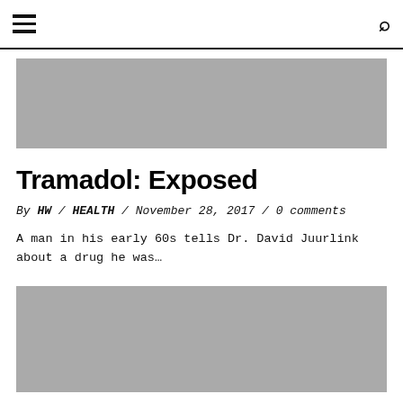Navigation bar with hamburger menu and search icon
[Figure (photo): Gray placeholder image for article hero image]
Tramadol: Exposed
By HW / HEALTH / November 28, 2017 / 0 comments
A man in his early 60s tells Dr. David Juurlink about a drug he was…
[Figure (photo): Gray placeholder image at bottom of page]